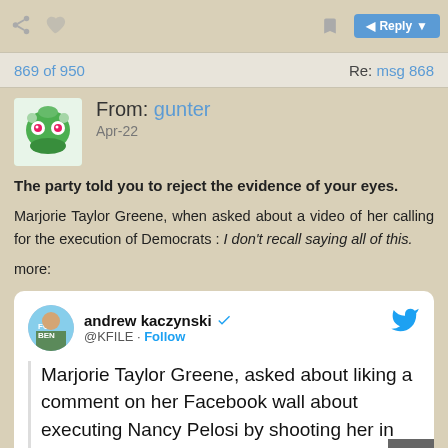869 of 950   Re: msg 868
From: gunter
Apr-22
The party told you to reject the evidence of your eyes.
Marjorie Taylor Greene, when asked about a video of her calling for the execution of Democrats : I don't recall saying all of this.
more:
[Figure (screenshot): Embedded tweet from andrew kaczynski @KFILE: Marjorie Taylor Greene, asked about liking a comment on her Facebook wall about executing Nancy Pelosi by shooting her in the head.]